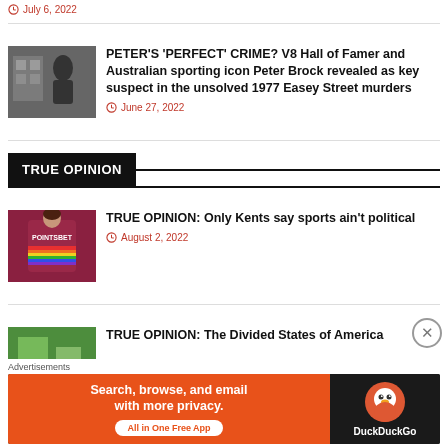July 6, 2022
PETER'S 'PERFECT' CRIME? V8 Hall of Famer and Australian sporting icon Peter Brock revealed as key suspect in the unsolved 1977 Easey Street murders
June 27, 2022
TRUE OPINION
TRUE OPINION: Only Kents say sports ain't political
August 2, 2022
TRUE OPINION: The Divided States of America
Advertisements
[Figure (infographic): DuckDuckGo advertisement banner: orange left panel with text 'Search, browse, and email with more privacy. All in One Free App' and dark right panel with DuckDuckGo logo and text 'DuckDuckGo']